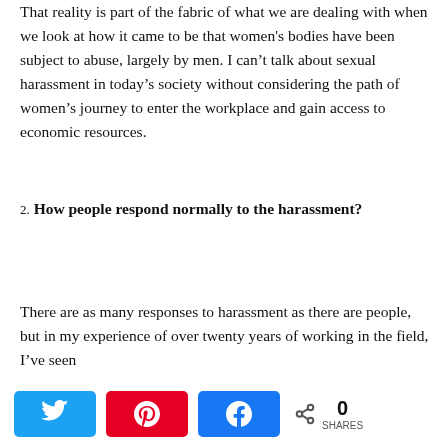That reality is part of the fabric of what we are dealing with when we look at how it came to be that women's bodies have been subject to abuse, largely by men. I can't talk about sexual harassment in today's society without considering the path of women's journey to enter the workplace and gain access to economic resources.
2. How people respond normally to the harassment?
There are as many responses to harassment as there are people, but in my experience of over twenty years of working in the field, I've seen
Twitter Pinterest Facebook 0 SHARES